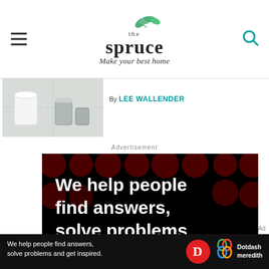[Figure (logo): The Spruce logo — hamburger menu icon on left, teal search icon on right, center shows 'the' in serif, 'spruce' in large bold serif, tagline 'Make your best home' in italic script, with decorative green leaves above]
[Figure (photo): Partial view of a kitchen scene with a white mug and metallic containers on a light tiled floor]
By LEE WALLENDER
Advertisement
[Figure (infographic): Dotdash Meredith advertisement on black background with dark red polka dots. Large white text reads 'We help people find answers, solve problems and get inspired.' with a red period. Below: 'LEARN MORE ▶' in white, with Dotdash 'D' logo in red circle and Meredith colorful knot logo.]
[Figure (infographic): Bottom sticky ad bar: dark background, white text 'We help people find answers, solve problems and get inspired.' with Dotdash D logo in red circle, colorful Meredith knot logo, and 'Dotdash meredith' text in white.]
Ad